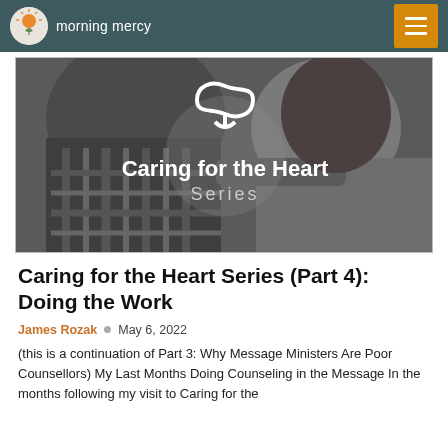morning mercy
[Figure (photo): Black and white photo of a couple embracing, with overlay text 'Caring for the Heart Series' and an infinity heart logo in white]
Caring for the Heart Series (Part 4): Doing the Work
James Rozak  May 6, 2022
(this is a continuation of Part 3: Why Message Ministers Are Poor Counsellors) My Last Months Doing Counseling in the Message In the months following my visit to Caring for the